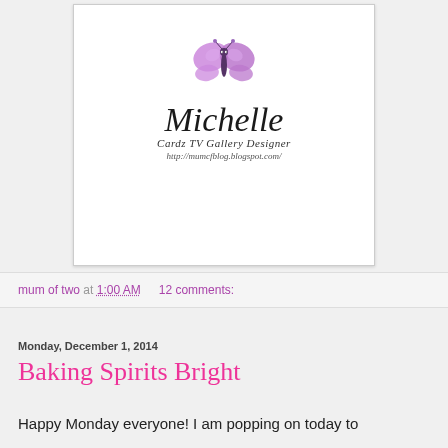[Figure (logo): Michelle Cardz TV Gallery Designer logo with purple butterfly illustration above cursive 'Michelle' text, subtitle 'Cardz TV Gallery Designer' and URL http://mumcfblog.blogspot.com/]
mum of two at 1:00 AM   12 comments:
Monday, December 1, 2014
Baking Spirits Bright
Happy Monday everyone!  I am popping on today to